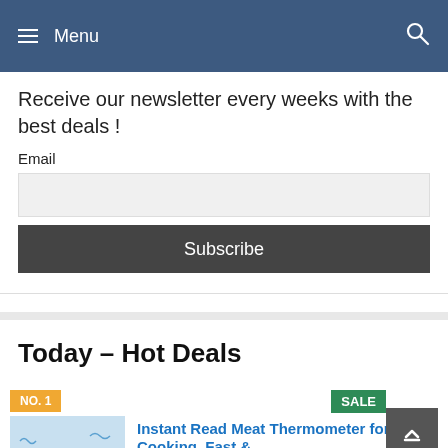≡ Menu
Receive our newsletter every weeks with the best deals !
Email
Subscribe
Today – Hot Deals
NO. 1
SALE
Instant Read Meat Thermometer for Cooking, Fast &...
[Figure (photo): Instant Read Meat Thermometer product image with water splash]